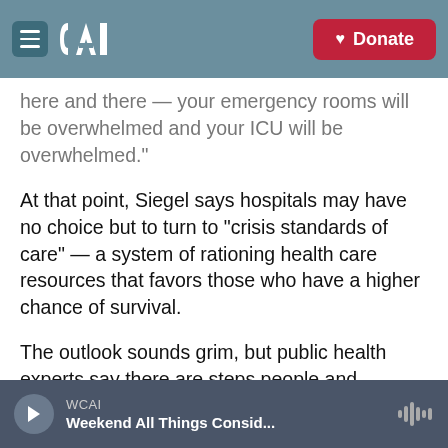CAI | Donate
here and there — your emergency rooms will be overwhelmed and your ICU will be overwhelmed."
At that point, Siegel says hospitals may have no choice but to turn to "crisis standards of care" — a system of rationing health care resources that favors those who have a higher chance of survival.
The outlook sounds grim, but public health experts say there are steps people and policymakers can take that even now can help flatten the curve of new infections. Mask wearing, social distancing, and targeted policies to limit crowds in public places and indoor settings such as bars and
WCAI — Weekend All Things Consid...